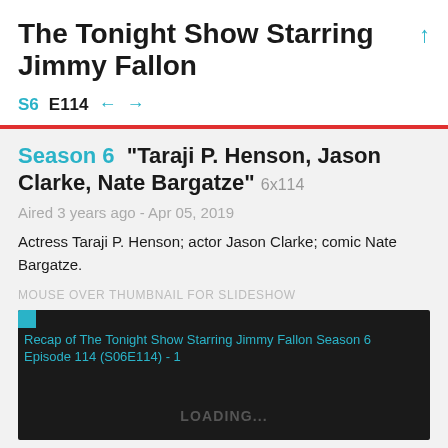The Tonight Show Starring Jimmy Fallon
S6  E114  ← →
Season 6 "Taraji P. Henson, Jason Clarke, Nate Bargatze" 6x114
Aired 3 years ago - Apr 05, 2019
Actress Taraji P. Henson; actor Jason Clarke; comic Nate Bargatze.
MOUSE OVER THUMBNAIL FOR SLIDESHOW
[Figure (screenshot): Thumbnail loading area for Recap of The Tonight Show Starring Jimmy Fallon Season 6 Episode 114 (S06E114) - 1, dark background with LOADING... text]